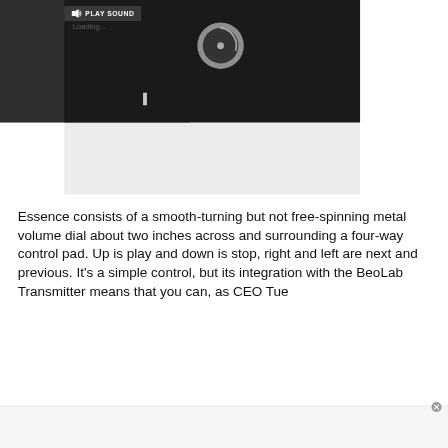[Figure (screenshot): Screenshot of a web media player with dark background, showing a loading spinner circle, pause button (two vertical bars), and a 'PLAY SOUND' toolbar label with speaker icon at the top. A close X button appears top right, and an expand/fullscreen icon appears at right. Below the dark player is a light gray placeholder box.]
Essence consists of a smooth-turning but not free-spinning metal volume dial about two inches across and surrounding a four-way control pad. Up is play and down is stop, right and left are next and previous. It's a simple control, but its integration with the BeoLab Transmitter means that you can, as CEO Tue